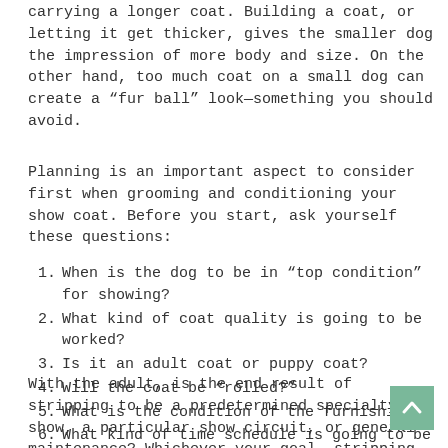carrying a longer coat. Building a coat, or letting it get thicker, gives the smaller dog the impression of more body and size. On the other hand, too much coat on a small dog can create a “fur ball” look—something you should avoid.
Planning is an important aspect to consider first when grooming and conditioning your show coat. Before you start, ask yourself these questions:
When is the dog to be in “top condition” for showing?
What kind of coat quality is going to be worked?
Is it an adult coat or puppy coat?
Will the coat be “rolled?”
What is the condition of the furnishings?
What kind of time schedule is going to be available?
With the adult, is the end result of stripping to be a predetermined specialty show, a particular show circuit, or general maintenance? Whichever your goal, stripping too soon or too late will destroy the entire purpose. Make